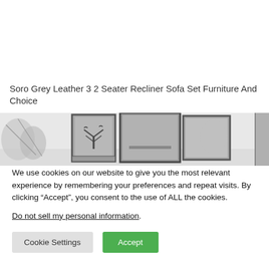Soro Grey Leather 3 2 Seater Recliner Sofa Set Furniture And Choice
[Figure (photo): Partial view of a room interior showing framed wall art pictures in black and white, with balloons and a tree artwork visible]
We use cookies on our website to give you the most relevant experience by remembering your preferences and repeat visits. By clicking “Accept”, you consent to the use of ALL the cookies.
Do not sell my personal information.
Cookie Settings
Accept